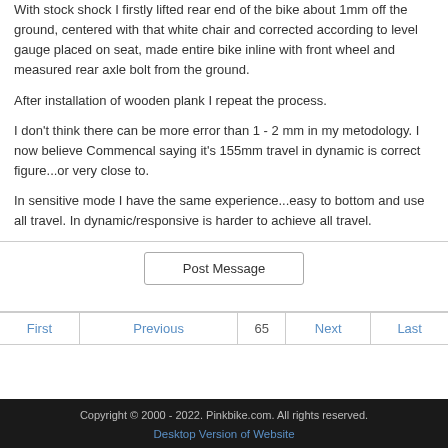With stock shock I firstly lifted rear end of the bike about 1mm off the ground, centered with that white chair and corrected according to level gauge placed on seat, made entire bike inline with front wheel and measured rear axle bolt from the ground.
After installation of wooden plank I repeat the process.
I don't think there can be more error than 1 - 2 mm in my metodology. I now believe Commencal saying it's 155mm travel in dynamic is correct figure...or very close to.
In sensitive mode I have the same experience...easy to bottom and use all travel. In dynamic/responsive is harder to achieve all travel.
| First | Previous | 65 | Next | Last |
| --- | --- | --- | --- | --- |
Copyright © 2000 - 2022. Pinkbike.com. All rights reserved. Desktop Version of Website